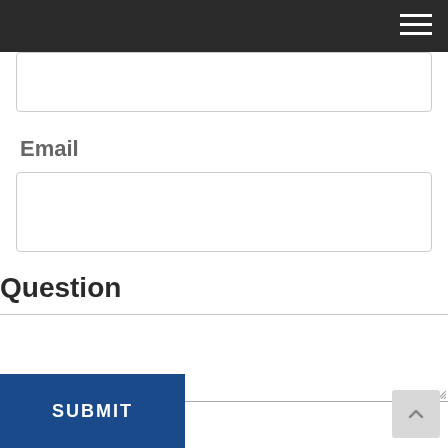[Figure (screenshot): Dark navigation bar with hamburger menu icon (three white horizontal lines) in the top right corner]
[Figure (screenshot): Empty text input field with light gray border and rounded corners]
Email
[Figure (screenshot): Empty email input field with light gray border and rounded corners]
Question
[Figure (screenshot): Empty textarea/question input field with resize handle in bottom right corner]
SUBMIT